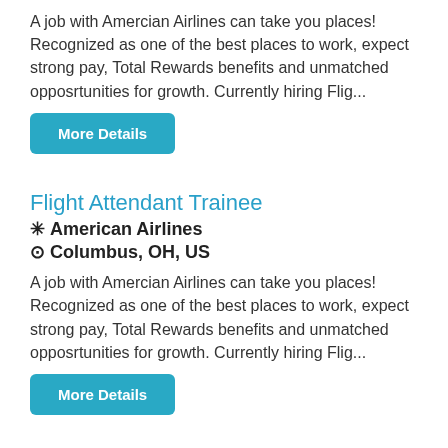A job with Amercian Airlines can take you places! Recognized as one of the best places to work, expect strong pay, Total Rewards benefits and unmatched opposrtunities for growth. Currently hiring Flig...
More Details
Flight Attendant Trainee
✳ American Airlines
⊙ Columbus, OH, US
A job with Amercian Airlines can take you places! Recognized as one of the best places to work, expect strong pay, Total Rewards benefits and unmatched opposrtunities for growth. Currently hiring Flig...
More Details
Records Specialist
✳ American Airlines